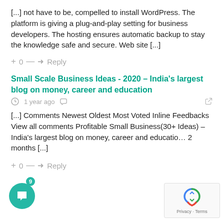[...] not have to be, compelled to install WordPress. The platform is giving a plug-and-play setting for business developers. The hosting ensures automatic backup to stay the knowledge safe and secure. Web site [...]
+ 0 — → Reply
Small Scale Business Ideas - 2020 – India's largest blog on money, career and education
🕐 1 year ago  share  link
[...] Comments Newest Oldest Most Voted Inline Feedbacks View all comments Profitable Small Business(30+ Ideas) – India's largest blog on money, career and educatio… 2 months [...]
+ 0 — → Reply